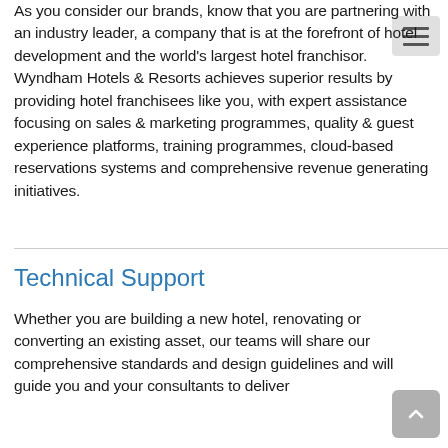As you consider our brands, know that you are partnering with an industry leader, a company that is at the forefront of hotel development and the world's largest hotel franchisor. Wyndham Hotels & Resorts achieves superior results by providing hotel franchisees like you, with expert assistance focusing on sales & marketing programmes, quality & guest experience platforms, training programmes, cloud-based reservations systems and comprehensive revenue generating initiatives.
Technical Support
Whether you are building a new hotel, renovating or converting an existing asset, our teams will share our comprehensive standards and design guidelines and will guide you and your consultants to deliver